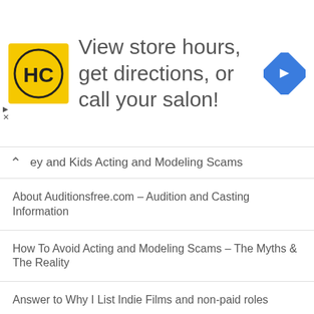[Figure (other): Advertisement banner for a salon chain (HC logo) with text 'View store hours, get directions, or call your salon!' and a blue navigation arrow icon on the right.]
ey and Kids Acting and Modeling Scams
About Auditionsfree.com – Audition and Casting Information
How To Avoid Acting and Modeling Scams – The Myths & The Reality
Answer to Why I List Indie Films and non-paid roles
Information for Movie and TV Show Extras
Disney Channel Auditions for Kids – Get the info
Top 3 Acting & Modeling Scams
Acting Articles and Resources
Don't get scammed
List of Agents and Casting Directors
Theater Resources